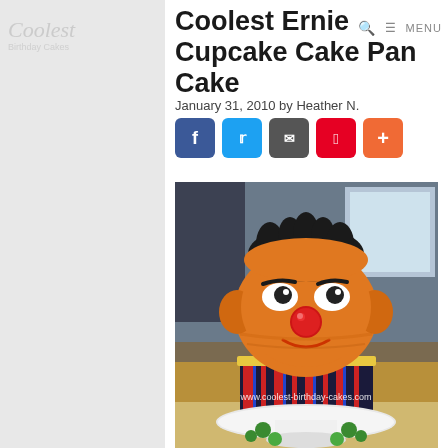Coolest Ernie Cupcake Cake Pan Cake
Coolest Ernie Cupcake Cake Pan Cake
January 31, 2010 by Heather N.
[Figure (infographic): Five social sharing buttons: Facebook (blue), Twitter (light blue), Email (gray), Pinterest (red), Plus (orange)]
[Figure (photo): A large cupcake-shaped cake decorated to look like Ernie from Sesame Street. The cake has orange frosting for Ernie's face with black hair on top, white and black eyes, a red nose, a smile, and round orange ears. The cupcake wrapper portion is decorated in red and dark navy stripes. The cake sits on a white cake stand with green decorations at the base. Text overlay reads www.coolest-birthday-cakes.com]